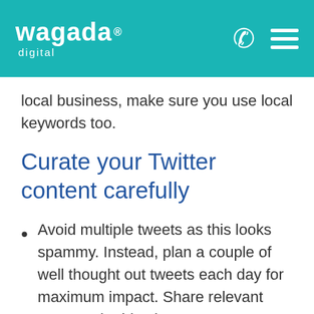wagada digital
local business, make sure you use local keywords too.
Curate your Twitter content carefully
Avoid multiple tweets as this looks spammy. Instead, plan a couple of well thought out tweets each day for maximum impact. Share relevant news and add value to any re-tweets by adding a